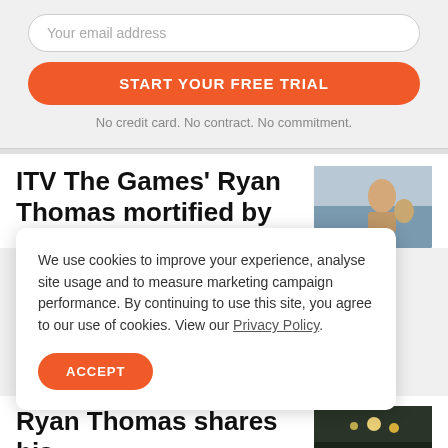Your email address
START YOUR FREE TRIAL
No credit card. No contract. No commitment.
ITV The Games' Ryan Thomas mortified by
[Figure (photo): A man touching his face/neck near a swimming pool setting]
We use cookies to improve your experience, analyse site usage and to measure marketing campaign performance. By continuing to use this site, you agree to our use of cookies. View our Privacy Policy.
ACCEPT
Ryan Thomas shares his
[Figure (photo): Outdoor night scene with stage lights]